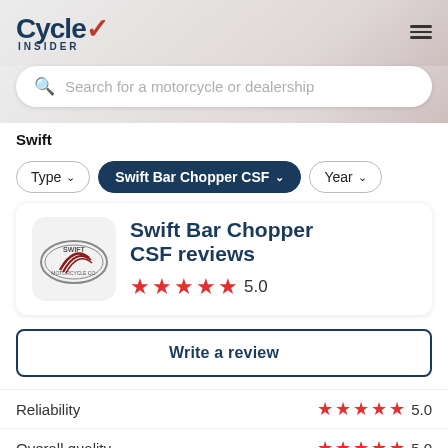Cycle Insider
Search for a motorcycle or dealership
Swift
Type | Swift Bar Chopper CSF | Year
Swift Bar Chopper CSF reviews
5.0
Write a review
Reliability 5.0
Overall quality 5.0